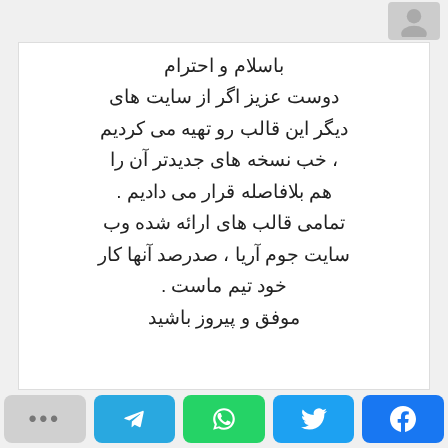[Figure (illustration): Avatar placeholder icon (grey silhouette) in top right corner]
باسلام و احترام
دوست عزیز اگر از سایت های
دیگر این قالب رو تهیه می کردیم
، خب نسخه های جدیدتر آن را
هم بلافاصله قرار می دادیم .
تمامی قالب های ارائه شده وب
سایت جوم آریا ، صدرصد آنها کار
خود تیم ماست .
موفق و پیروز باشید
[Figure (infographic): Share bar with five buttons: grey dots/more, Telegram (blue), WhatsApp (green), Twitter (blue), Facebook (blue)]